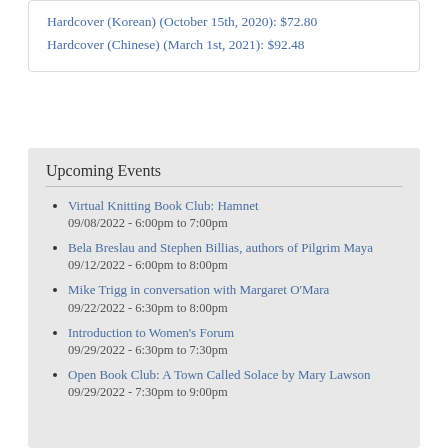Hardcover (Korean) (October 15th, 2020): $72.80
Hardcover (Chinese) (March 1st, 2021): $92.48
Upcoming Events
Virtual Knitting Book Club: Hamnet
09/08/2022 - 6:00pm to 7:00pm
Bela Breslau and Stephen Billias, authors of Pilgrim Maya
09/12/2022 - 6:00pm to 8:00pm
Mike Trigg in conversation with Margaret O'Mara
09/22/2022 - 6:30pm to 8:00pm
Introduction to Women's Forum
09/29/2022 - 6:30pm to 7:30pm
Open Book Club: A Town Called Solace by Mary Lawson
09/29/2022 - 7:30pm to 9:00pm
more